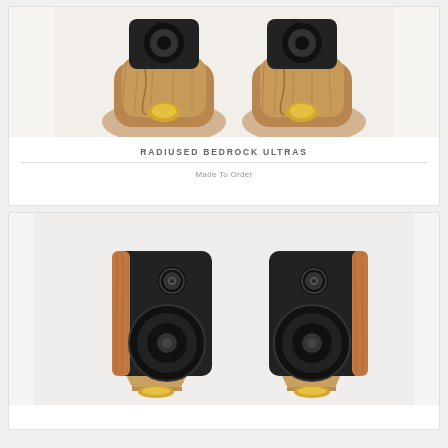[Figure (photo): Top-down view of two Radiused Bedrock Ultra speakers with wooden bases and black drivers, gold hardware accents, on white background]
RADIUSED BEDROCK ULTRAS
Made To Order
[Figure (photo): Front and side view of two bookshelf speakers with walnut wood cabinets, black baffles, circular drivers, sitting on geometric wooden stands with gold hardware, on white background]